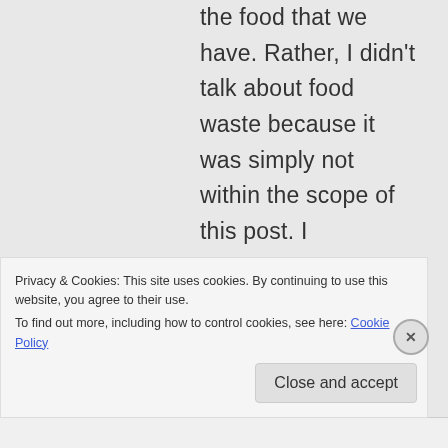the food that we have. Rather, I didn't talk about food waste because it was simply not within the scope of this post. I
Privacy & Cookies: This site uses cookies. By continuing to use this website, you agree to their use.
To find out more, including how to control cookies, see here: Cookie Policy
Close and accept